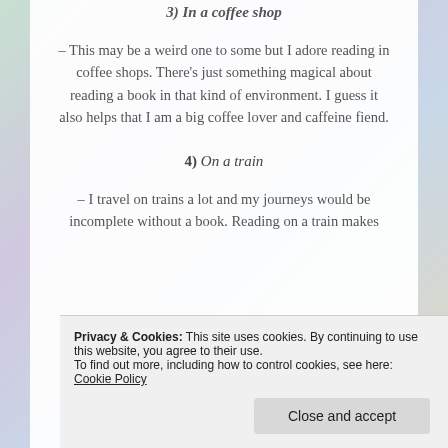3) In a coffee shop
– This may be a weird one to some but I adore reading in coffee shops. There's just something magical about reading a book in that kind of environment. I guess it also helps that I am a big coffee lover and caffeine fiend.
4) On a train
– I travel on trains a lot and my journeys would be incomplete without a book. Reading on a train makes
Privacy & Cookies: This site uses cookies. By continuing to use this website, you agree to their use. To find out more, including how to control cookies, see here: Cookie Policy
Close and accept